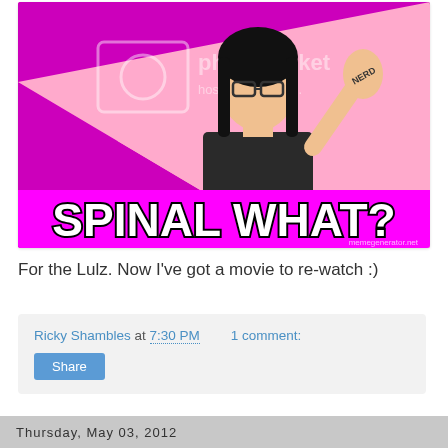[Figure (illustration): Internet meme image with bright magenta/pink background divided diagonally, featuring a girl with glasses and black hair raising her hand showing 'NERD' written on her palm. Large bold white text at bottom reads 'SPINAL WHAT?' with black outline. Photobucket watermark and memegenerator.net watermark visible.]
For the Lulz. Now I've got a movie to re-watch :)
Ricky Shambles at 7:30 PM    1 comment:
Thursday, May 03, 2012